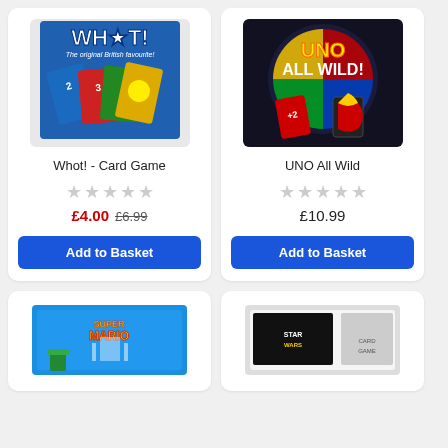[Figure (photo): Whot! Card Game product image showing colorful playing cards on blue background with text 'The original British favourite!']
Whot! - Card Game
★★★★★ (empty stars)
£4.00  £6.99
Add to Basket
[Figure (photo): UNO All Wild card game product image on dark background with colorful UNO cards]
UNO All Wild
★★★★★ (empty stars)
£10.99
Add to Basket
[Figure (photo): Super Mario card game product image in blue packaging]
[Figure (photo): Another product partially visible at bottom right]